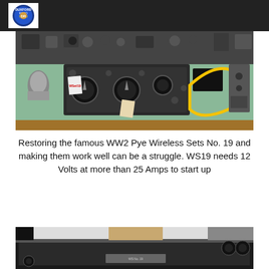Duxford Radio Trust
[Figure (photo): WW2 Pye Wireless Set No. 19 on a green workbench, showing radio equipment with dials, knobs, and a yellow cable loop. Various components and tags are visible on the bench.]
Restoring the famous WW2 Pye Wireless Sets No. 19 and making them work well can be a struggle.  WS19 needs 12 Volts at more than 25 Amps to start up
[Figure (photo): Close-up of military radio equipment in a rack mount, showing dark painted metal chassis with knobs and a label plate, partially cut off at bottom of page.]